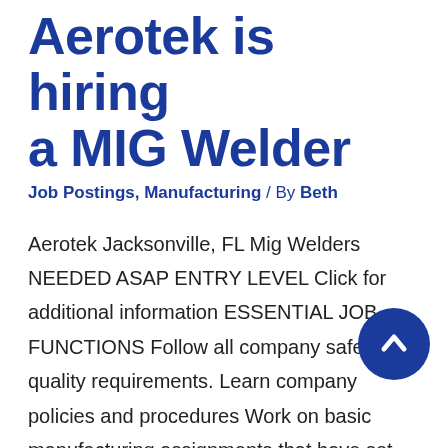Aerotek is hiring a MIG Welder
Job Postings, Manufacturing / By Beth
Aerotek Jacksonville, FL Mig Welders NEEDED ASAP ENTRY LEVEL Click for additional information ESSENTIAL JOB FUNCTIONS Follow all company safety and quality requirements. Learn company policies and procedures Work on basic manufacturing assignments that have set standards Follow detailed instructions while observed closely by the supervisor or lead Problem solve simple and non complex issues …